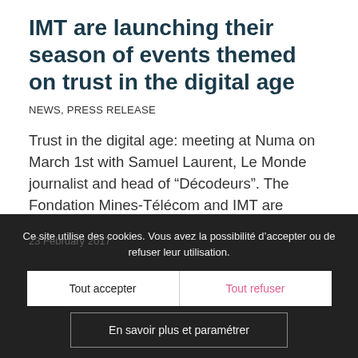IMT are launching their season of events themed on trust in the digital age
NEWS, PRESS RELEASE
Trust in the digital age: meeting at Numa on March 1st with Samuel Laurent, Le Monde journalist and head of “Décodeurs”. The Fondation Mines-Télécom and IMT are launching their season of events themed on trust in the digital age. This…
23 February 2017
Ce site utilise des cookies. Vous avez la possibilité d’accepter ou de refuser leur utilisation.
Tout accepter
Tout refuser
En savoir plus et paramétrer